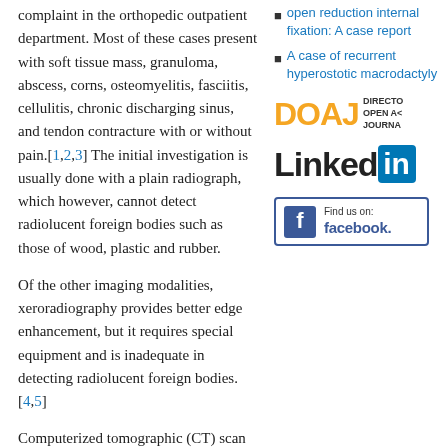complaint in the orthopedic outpatient department. Most of these cases present with soft tissue mass, granuloma, abscess, corns, osteomyelitis, fasciitis, cellulitis, chronic discharging sinus, and tendon contracture with or without pain.[1,2,3] The initial investigation is usually done with a plain radiograph, which however, cannot detect radiolucent foreign bodies such as those of wood, plastic and rubber.
open reduction internal fixation: A case report
A case of recurrent hyperostotic macrodactyly
[Figure (logo): DOAJ - Directory of Open Access Journals logo]
[Figure (logo): LinkedIn logo]
[Figure (logo): Find us on Facebook button]
Of the other imaging modalities, xeroradiography provides better edge enhancement, but it requires special equipment and is inadequate in detecting radiolucent foreign bodies.[4,5]
Computerized tomographic (CT) scan has the ability to detect the radiolucent foreign bodies